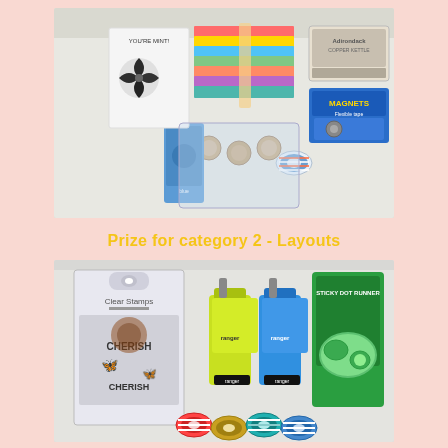[Figure (photo): Craft supplies including colorful popsicle sticks, an ink pad (Adirondack brand), bottle caps, striped washi tape rolls, magnets packaging, and other crafting materials laid out on a white surface.]
Prize for category 2 - Layouts
[Figure (photo): Craft supplies including clear stamps (Cherish brand), two spray ink bottles (yellow-green and blue), a Sticky Dot Runner adhesive, and several rolls of decorative washi tape with various patterns including stripes and floral designs.]